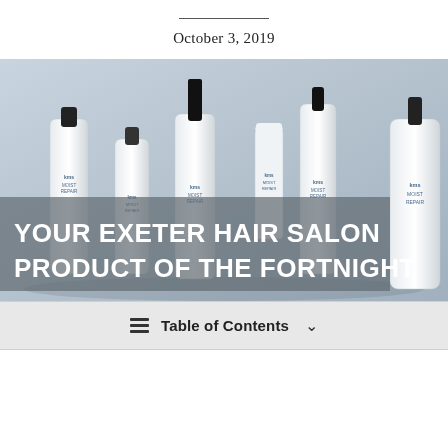October 3, 2019
[Figure (photo): KMS Moist Repair hair care product line — multiple white bottles and tubes with black caps arranged on a light background, with the text 'YOUR EXETER HAIR SALON PRODUCT OF THE FORTNIGHT' overlaid in white uppercase letters on a semi-transparent grey box.]
Table of Contents